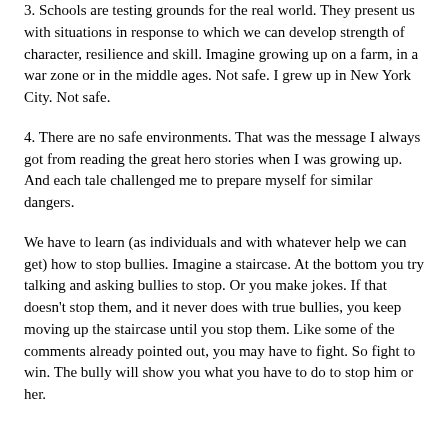3. Schools are testing grounds for the real world. They present us with situations in response to which we can develop strength of character, resilience and skill. Imagine growing up on a farm, in a war zone or in the middle ages. Not safe. I grew up in New York City. Not safe.
4. There are no safe environments. That was the message I always got from reading the great hero stories when I was growing up. And each tale challenged me to prepare myself for similar dangers.
We have to learn (as individuals and with whatever help we can get) how to stop bullies. Imagine a staircase. At the bottom you try talking and asking bullies to stop. Or you make jokes. If that doesn't stop them, and it never does with true bullies, you keep moving up the staircase until you stop them. Like some of the comments already pointed out, you may have to fight. So fight to win. The bully will show you what you have to do to stop him or her.